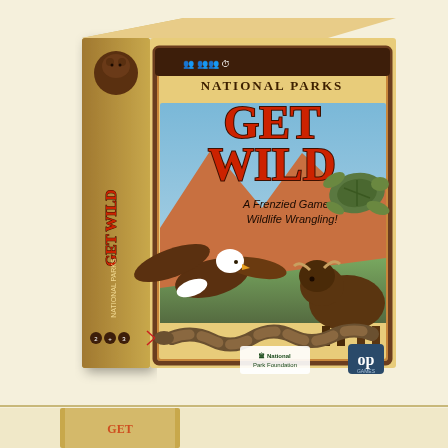[Figure (photo): Board game box for 'National Parks Get Wild - A Frenzied Game of Wildlife Wrangling!' published by USAopoly/The Op Games in partnership with National Park Foundation. The box shows a bald eagle in flight, a bison, a sea turtle, and a snake on a landscape background of mountains and forests. The box spine also shows the game title vertically. The box has a tan/khaki color scheme with red lettering for 'GET WILD' and brown decorative borders.]